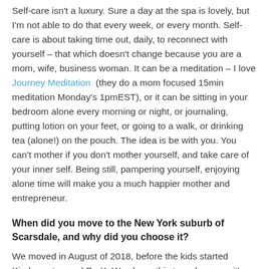Self-care isn't a luxury. Sure a day at the spa is lovely, but I'm not able to do that every week, or every month. Self-care is about taking time out, daily, to reconnect with yourself – that which doesn't change because you are a mom, wife, business woman. It can be a meditation – I love Journey Meditation (they do a mom focused 15min meditation Monday's 1pmEST), or it can be sitting in your bedroom alone every morning or night, or journaling, putting lotion on your feet, or going to a walk, or drinking tea (alone!) on the pouch. The idea is be with you. You can't mother if you don't mother yourself, and take care of your inner self. Being still, pampering yourself, enjoying alone time will make you a much happier mother and entrepreneur.
When did you move to the New York suburb of Scarsdale, and why did you choose it?
We moved in August of 2018, before the kids started Kindergarten and PreK. We chose this town because it's an easy community to Manhattan, the schools are